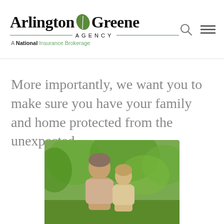[Figure (logo): Arlington Greene Agency logo — a national insurance brokerage]
More importantly, we want you to make sure you have your family and home protected from the unexpected.
[Figure (photo): Photo of a man with a child outdoors in a green garden setting]